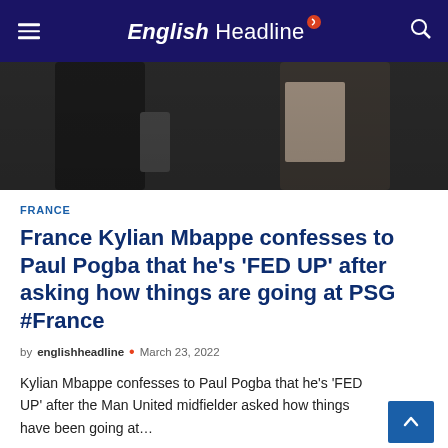English Headline
[Figure (photo): Two people standing, partial view from torso down, dark/grey background]
FRANCE
France Kylian Mbappe confesses to Paul Pogba that he's 'FED UP' after asking how things are going at PSG #France
by englishheadline • March 23, 2022
Kylian Mbappe confesses to Paul Pogba that he's 'FED UP' after the Man United midfielder asked how things have been going at…